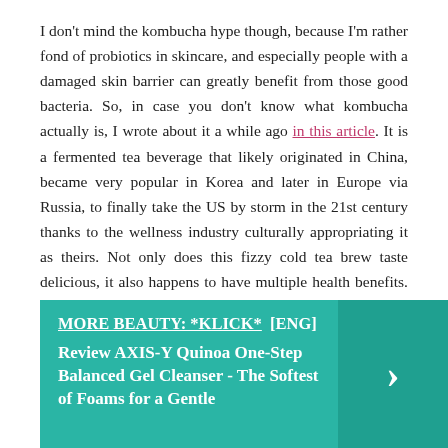I don't mind the kombucha hype though, because I'm rather fond of probiotics in skincare, and especially people with a damaged skin barrier can greatly benefit from those good bacteria. So, in case you don't know what kombucha actually is, I wrote about it a while ago in this article. It is a fermented tea beverage that likely originated in China, became very popular in Korea and later in Europe via Russia, to finally take the US by storm in the 21st century thanks to the wellness industry culturally appropriating it as theirs. Not only does this fizzy cold tea brew taste delicious, it also happens to have multiple health benefits. Especially our gut loves those probiotics and ferments, plus it's also rich in B vitamins and minerals.
MORE BEAUTY: *KLICK* [ENG] Review AXIS-Y Quinoa One-Step Balanced Gel Cleanser - The Softest of Foams for a Gentle